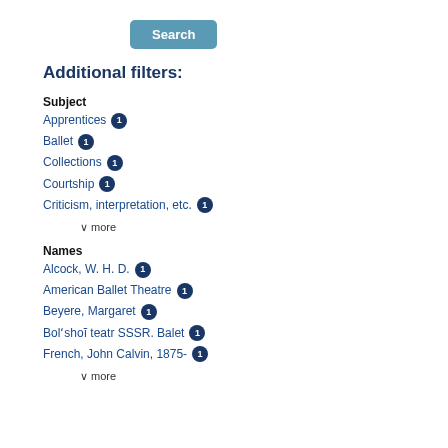[Figure (other): Search button, blue rounded rectangle with white text]
Additional filters:
Subject
Apprentices 1
Ballet 1
Collections 1
Courtship 1
Criticism, interpretation, etc. 1
∨ more
Names
Alcock, W. H. D. 1
American Ballet Theatre 1
Beyere, Margaret 1
Bolʻshoĭ teatr SSSR. Balet 1
French, John Calvin, 1875- 1
∨ more